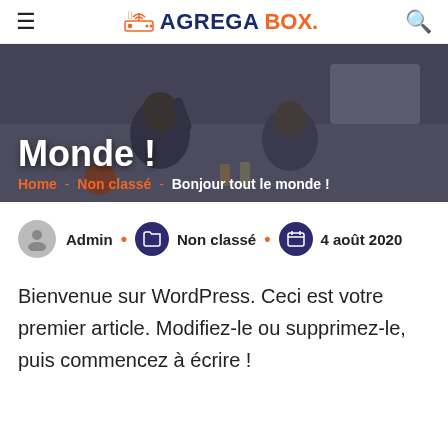≡ AGREGABOX. 🔍
[Figure (photo): Hero banner image showing two children/people sitting on a couch watching TV from behind, with text overlay 'Monde !' and breadcrumb 'Home - Non classé - Bonjour tout le monde !']
Monde !
Home - Non classé - Bonjour tout le monde !
Admin • Non classé • 4 août 2020
Bienvenue sur WordPress. Ceci est votre premier article. Modifiez-le ou supprimez-le, puis commencez à écrire !